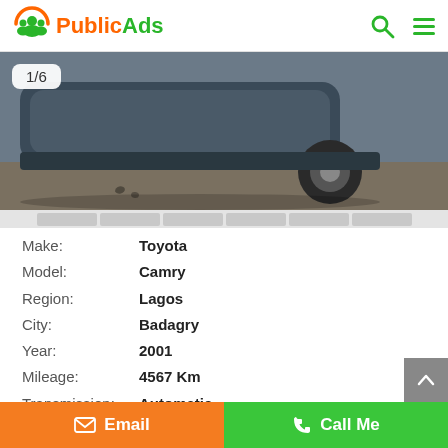PublicAds
[Figure (photo): Car photo showing front bumper and wheel of a dark colored vehicle, with counter badge '1/6']
Make: Toyota
Model: Camry
Region: Lagos
City: Badagry
Year: 2001
Mileage: 4567 Km
Transmission: Automatic
Condition: New